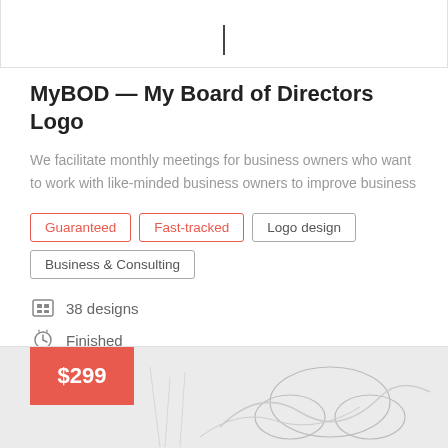[Figure (screenshot): Top portion of a UI card with a cursor/text insertion line visible]
MyBOD — My Board of Directors Logo
We facilitate monthly meetings for business owners who want to work with like-minded business owners to improve business
Guaranteed
Fast-tracked
Logo design
Business & Consulting
38 designs
Finished
[Figure (illustration): Partial illustration of a logo design with pencil/hand sketch elements, price badge showing $299]